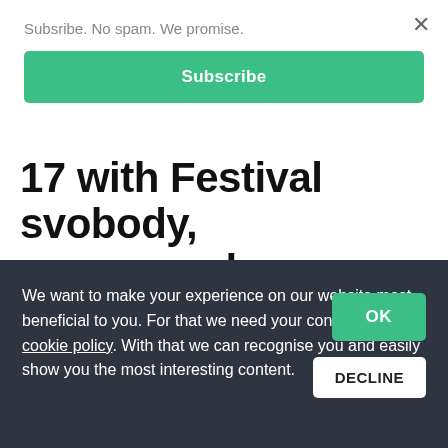Subsribe. No spam. We promise.
Subscribe
17 with Festival svobody, an app and augmented reality
We want to make your experience on our website most beneficial to you. For that we need your consent with our cookie policy. With that we can recognise you and easily show you the most interesting content.
OK
DECLINE